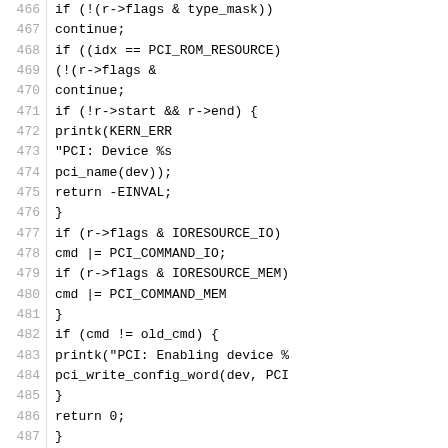[Figure (screenshot): Source code listing showing C code for pcibios functions, lines 466-495, with line numbers on the left and code on the right.]